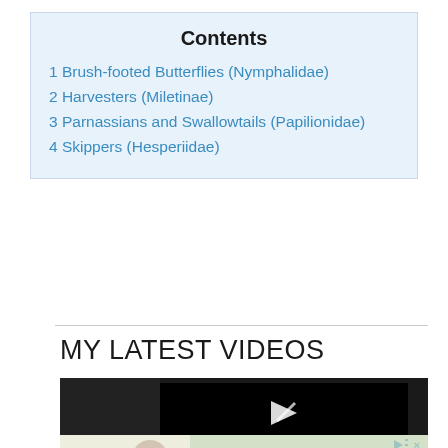Contents
1 Brush-footed Butterflies (Nymphalidae)
2 Harvesters (Miletinae)
3 Parnassians and Swallowtails (Papilionidae)
4 Skippers (Hesperiidae)
MY LATEST VIDEOS
[Figure (screenshot): Video player screenshot showing a dark/black video frame with a white play button arrow in the center, embedded in a dark container. Below it is an advertisement bar with a woman in a blue top against a light green background, with ad control icons.]